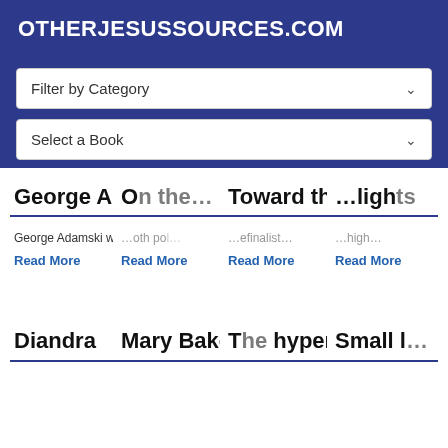OTHERJESUSSOURCES.COM
Filter by Category
Select a Book
George Adamski
On the...
Toward the Light
...lights
George Adamski was a polish american...
Read More
Read More
Read More
Read More
Diandra
Mary Baker Eddy
The hypersonal...
Small l...